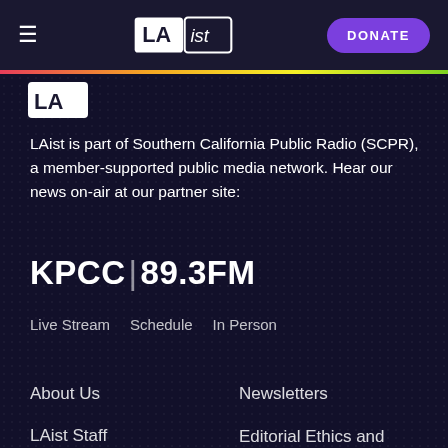LAist — DONATE
[Figure (logo): Partial LAist logo visible at top of content area]
LAist is part of Southern California Public Radio (SCPR), a member-supported public media network. Hear our news on-air at our partner site:
[Figure (logo): KPCC | 89.3FM logo in bold white text]
Live Stream
Schedule
In Person
About Us
Newsletters
LAist Staff
Editorial Ethics and Guidelines
Careers
DEI Statement
Advertising